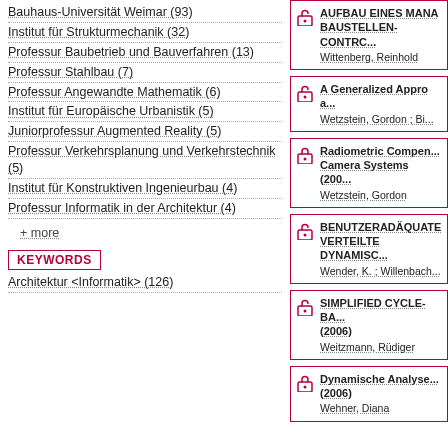Bauhaus-Universität Weimar (93)
Institut für Strukturmechanik (32)
Professur Baubetrieb und Bauverfahren (13)
Professur Stahlbau (7)
Professur Angewandte Mathematik (6)
Institut für Europäische Urbanistik (5)
Juniorprofessur Augmented Reality (5)
Professur Verkehrsplanung und Verkehrstechnik (5)
Institut für Konstruktiven Ingenieurbau (4)
Professur Informatik in der Architektur (4)
+ more
KEYWORDS
Architektur <Informatik> (126)
[Figure (other): Card: AUFBAU EINES MANA... BAUSTELLEN-CONTRC... Wittenberg, Reinhold — open lock icon]
[Figure (other): Card: A Generalized Appro... Wetzstein, Gordon ; Bi... — open lock icon]
[Figure (other): Card: Radiometric Compen... Camera Systems (200... Wetzstein, Gordon — closed lock icon]
[Figure (other): Card: BENUTZERADÄQUATE... VERTEILTE DYNAMISC... Wender, K. ; Willenbach... — open lock icon]
[Figure (other): Card: SIMPLIFIED CYCLE-BA... (2006) Weitzmann, Rüdiger — open lock icon]
[Figure (other): Card: Dynamische Analyse... (2006) Wehner, Diana — closed lock icon]